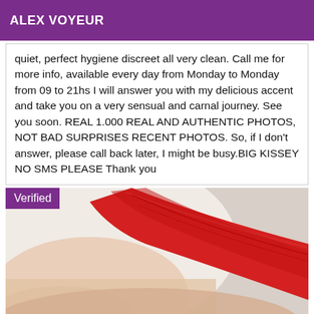ALEX VOYEUR
quiet, perfect hygiene discreet all very clean. Call me for more info, available every day from Monday to Monday from 09 to 21hs I will answer you with my delicious accent and take you on a very sensual and carnal journey. See you soon. REAL 1.000 REAL AND AUTHENTIC PHOTOS, NOT BAD SURPRISES RECENT PHOTOS. So, if I don't answer, please call back later, I might be busy.BIG KISSEY NO SMS PLEASE Thank you
[Figure (photo): Close-up photo of a person wearing red lace lingerie, shown from behind/side against a light background. A purple 'Verified' badge overlays the top-left corner.]